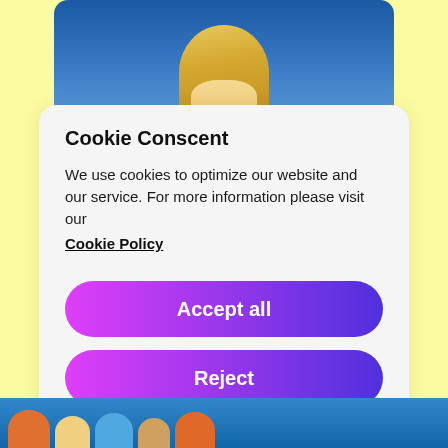[Figure (photo): Partial view of a person with blonde hair on blue background, visible at the top of the page behind a modal dialog]
Cookie Conscent
We use cookies to optimize our website and our service. For more information please visit our
Cookie Policy
Accept all
Reject
Preferences
[Figure (photo): Partial view of people at the bottom of the page, partially cropped]